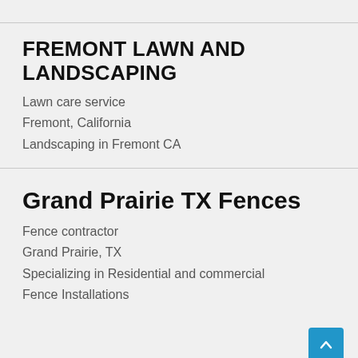FREMONT LAWN AND LANDSCAPING
Lawn care service
Fremont, California
Landscaping in Fremont CA
Grand Prairie TX Fences
Fence contractor
Grand Prairie, TX
Specializing in Residential and commercial Fence Installations